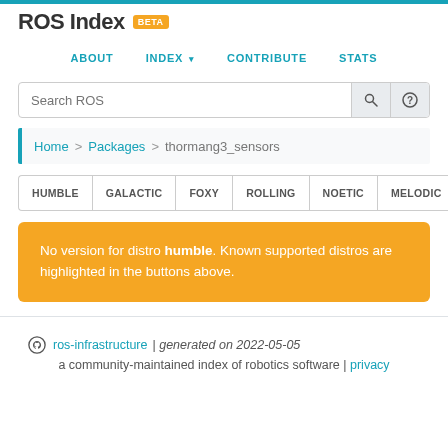ROS Index BETA
ABOUT | INDEX | CONTRIBUTE | STATS
Search ROS
Home > Packages > thormang3_sensors
HUMBLE  GALACTIC  FOXY  ROLLING  NOETIC  MELODIC  OLDER
No version for distro humble. Known supported distros are highlighted in the buttons above.
ros-infrastructure | generated on 2022-05-05
a community-maintained index of robotics software | privacy